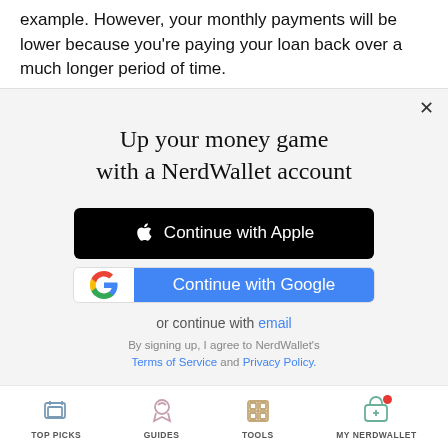example. However, your monthly payments will be lower because you're paying your loan back over a much longer period of time.
Up your money game with a NerdWallet account
Continue with Apple
Continue with Google
or continue with email
By signing up, I agree to NerdWallet's Terms of Service and Privacy Policy.
TOP PICKS   GUIDES   TOOLS   MY NERDWALLET